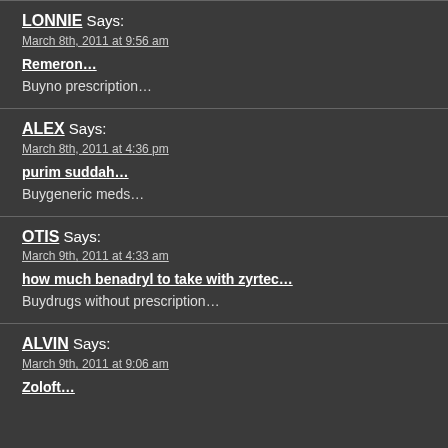LONNIE Says:
March 8th, 2011 at 9:56 am
Remeron…
Buyno prescription…
ALEX Says:
March 8th, 2011 at 4:36 pm
purim suddah…
Buygeneric meds…
OTIS Says:
March 9th, 2011 at 4:33 am
how much benadryl to take with zyrtec…
Buydrugs without prescription…
ALVIN Says:
March 9th, 2011 at 9:06 am
Zoloft…